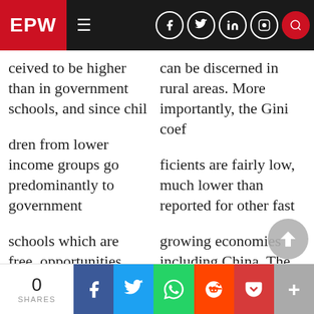EPW | Navigation bar with social icons
ceived to be higher than in government schools, and since chil
can be discerned in rural areas. More importantly, the Gini coef
dren from lower income groups go predominantly to government
ficients are fairly low, much lower than reported for other fast
schools which are free, opportunities may be less equal than they
growing economies including China. The data also reveal so
0 SHARES | Share buttons: Facebook, Twitter, WhatsApp, Reddit, Pocket, More